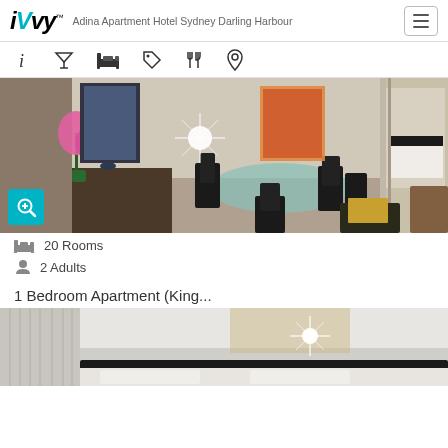iVvy — Adina Apartment Hotel Sydney Darling Harbour
[Figure (screenshot): Navigation icon bar with info, cocktail, bed, tag, fork-and-knife, and location pin icons]
[Figure (photo): Hotel apartment living/dining room with round dining table, black chairs, pink flowers, artwork on walls, and a zoom/magnify button overlay]
20 Rooms
2 Adults
1 Bedroom Apartment (King...
[Figure (photo): Partial view of hotel bedroom with white ceiling, light fixture, curtains, and bed]